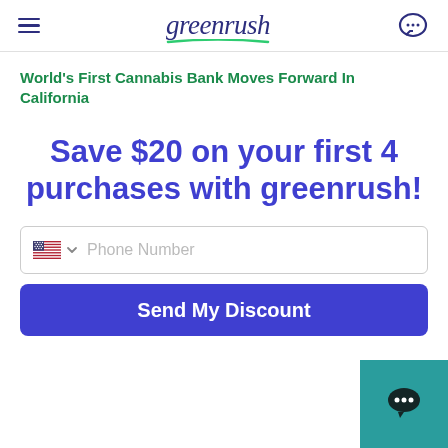greenrush
World's First Cannabis Bank Moves Forward In California
Save $20 on your first 4 purchases with greenrush!
Phone Number
Send My Discount